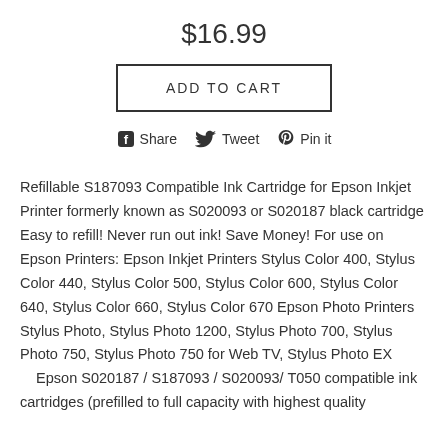$16.99
ADD TO CART
Share  Tweet  Pin it
Refillable S187093 Compatible Ink Cartridge for Epson Inkjet Printer formerly known as S020093 or S020187 black cartridge Easy to refill! Never run out ink! Save Money! For use on Epson Printers: Epson Inkjet Printers Stylus Color 400, Stylus Color 440, Stylus Color 500, Stylus Color 600, Stylus Color 640, Stylus Color 660, Stylus Color 670 Epson Photo Printers Stylus Photo, Stylus Photo 1200, Stylus Photo 700, Stylus Photo 750, Stylus Photo 750 for Web TV, Stylus Photo EX  Epson S020187 / S187093 / S020093/ T050 compatible ink cartridges (prefilled to full capacity with highest quality